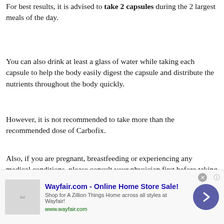For best results, it is advised to take 2 capsules during the 2 largest meals of the day.
You can also drink at least a glass of water while taking each capsule to help the body easily digest the capsule and distribute the nutrients throughout the body quickly.
However, it is not recommended to take more than the recommended dose of Carbofix.
Also, if you are pregnant, breastfeeding or experiencing any medical conditions, please consult your physician first before taking Carbofix to ensure there are no unwanted reactions to the body upon taking the supplement.
Get Carbofix For The Lowest Discounted Price Right Now!
[Figure (infographic): Wayfair.com advertisement banner: 'Wayfair.com - Online Home Store Sale!' with subtext 'Shop for A Zillion Things Home across all styles at Wayfair!' and URL 'www.wayfair.com', with a purple arrow button and close button.]